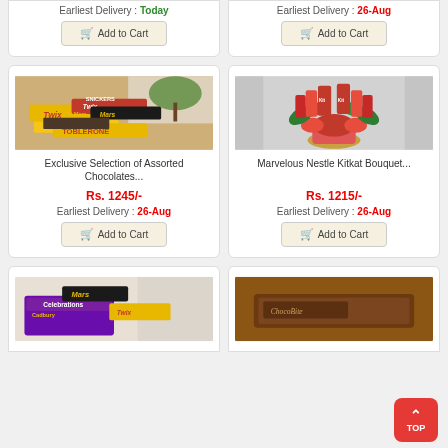Earliest Delivery : Today
Earliest Delivery : 26-Aug
[Figure (photo): Exclusive Selection of Assorted Chocolates including Twix, Mars, Snickers, Toblerone bars arranged together]
Exclusive Selection of Assorted Chocolates...
Rs. 1245/-
Earliest Delivery : 26-Aug
[Figure (photo): Marvelous Nestle Kitkat Bouquet with KitKat bars arranged as flowers with red ribbon and green leaves]
Marvelous Nestle Kitkat Bouquet...
Rs. 1215/-
Earliest Delivery : 26-Aug
[Figure (photo): Cadbury chocolate box with Celebrations and other chocolate bars]
[Figure (photo): Brown chocolate bar packaging]